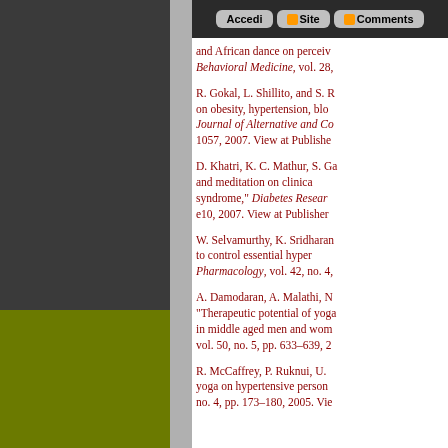Accedi | Site | Comments
and African dance on perceiv... Behavioral Medicine, vol. 28,
R. Gokal, L. Shillito, and S. R... on obesity, hypertension, blo... Journal of Alternative and Co... 1057, 2007. View at Publishe
D. Khatri, K. C. Mathur, S. Ga... and meditation on clinica... syndrome, Diabetes Resear... e10, 2007. View at Publisher
W. Selvamurthy, K. Sridharan... to control essential hyper... Pharmacology, vol. 42, no. 4,
A. Damodaran, A. Malathi, N... Therapeutic potential of yoga... in middle aged men and wom... vol. 50, no. 5, pp. 633–639, 2
R. McCaffrey, P. Ruknui, U.... yoga on hypertensive person... no. 4, pp. 173–180, 2005. Vie